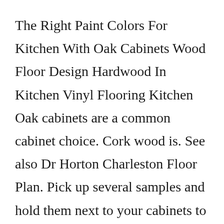The Right Paint Colors For Kitchen With Oak Cabinets Wood Floor Design Hardwood In Kitchen Vinyl Flooring Kitchen Oak cabinets are a common cabinet choice. Cork wood is. See also Dr Horton Charleston Floor Plan. Pick up several samples and hold them next to your cabinets to see if they complement each other of if they clash. Leave them in the room where youll place your cabinets and floors for several days and observe different color combinations